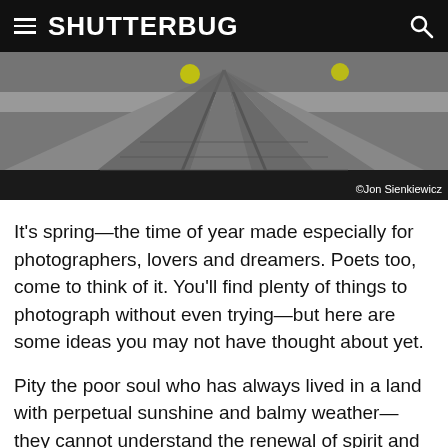SHUTTERBUG
[Figure (photo): Overhead view of railroad tracks with yellow markers, shot looking down the rails, dark metallic tones. Photo credit: ©Jon Sienkiewicz]
It's spring—the time of year made especially for photographers, lovers and dreamers. Poets too, come to think of it. You'll find plenty of things to photograph without even trying—but here are some ideas you may not have thought about yet.
Pity the poor soul who has always lived in a land with perpetual sunshine and balmy weather—they cannot understand the renewal of spirit and healing power of spring. A crocus here, a chirping robin there and—